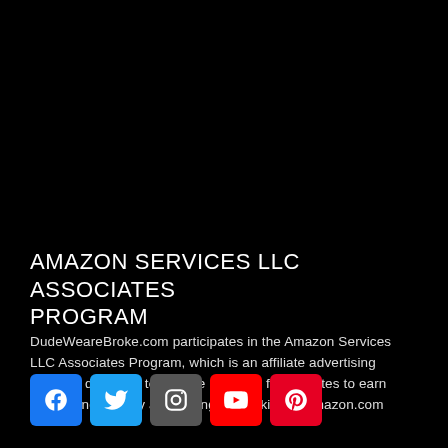AMAZON SERVICES LLC ASSOCIATES PROGRAM
DudeWeareBroke.com participates in the Amazon Services LLC Associates Program, which is an affiliate advertising program designed to provide a means for websites to earn advertising fees by advertising and linking to amazon.com
[Figure (other): Social media icons row: Facebook, Twitter, Instagram, YouTube, Pinterest]